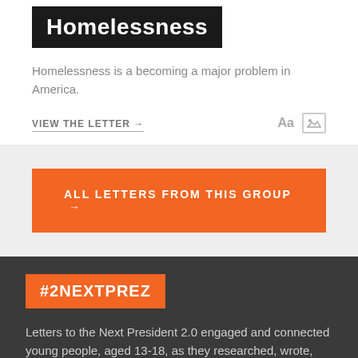Homelessness
Homelessness is a becoming a major problem in America.
VIEW THE LETTER →
ALL LETTERS FROM THIS GROUP →
#2NEXTPREZ
Letters to the Next President 2.0 engaged and connected young people, aged 13-18, as they researched, wrote, and made media to voice their opinions on issues that mattered to them in the 2016 Presidential Election.